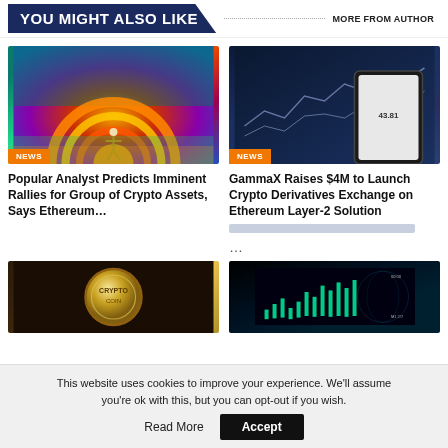You Might Also Like
More From Author
[Figure (photo): Colorful abstract digital art with orange circular sun arc and figure, tagged NEWS]
Popular Analyst Predicts Imminent Rallies for Group of Crypto Assets, Says Ethereum...
[Figure (photo): Dark blue stock market chart background with smartphone, tagged NEWS]
GammaX Raises $4M to Launch Crypto Derivatives Exchange on Ethereum Layer-2 Solution
...
[Figure (photo): Gold coin close-up on dark background]
[Figure (photo): Dark crypto trading chart with green candlesticks]
This website uses cookies to improve your experience. We'll assume you're ok with this, but you can opt-out if you wish.
Accept
Read More